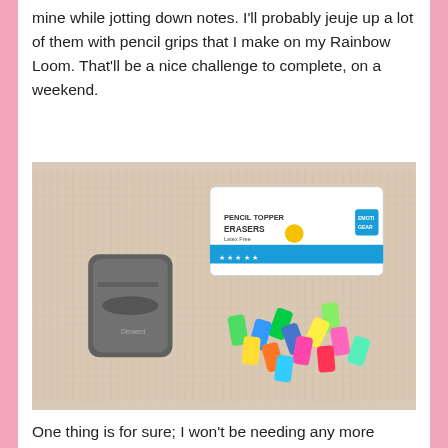mine while jotting down notes. I'll probably jeuje up a lot of them with pencil grips that I make on my Rainbow Loom. That'll be a nice challenge to complete, on a weekend.
[Figure (photo): Photo of a pencil sharpener and a pack of colorful pencil top erasers on a fluffy beige carpet background. The erasers are in various colors: green, blue, yellow, orange, pink. The eraser package reads 'Pencil Topper Erasers' with 'Emoti Gear' branding.]
One thing is for sure; I won't be needing any more